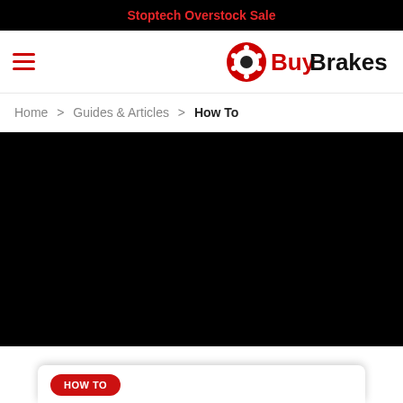Stoptech Overstock Sale
[Figure (logo): BuyBrakes logo with a brake disc icon and text 'BuyBrakes' in black bold font]
Home > Guides & Articles > How To
[Figure (photo): Large dark/black hero image area for How To article]
HOW TO